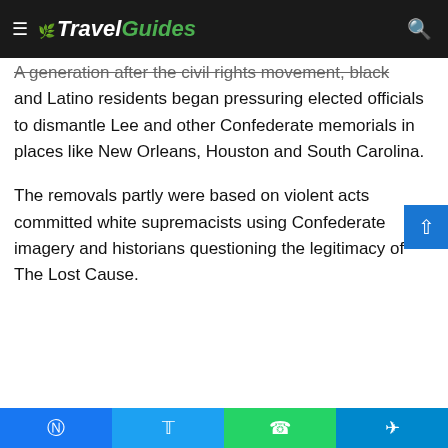TravelGuides
A generation after the civil rights movement, black and Latino residents began pressuring elected officials to dismantle Lee and other Confederate memorials in places like New Orleans, Houston and South Carolina.
The removals partly were based on violent acts committed white supremacists using Confederate imagery and historians questioning the legitimacy of The Lost Cause.
Facebook Twitter WhatsApp Telegram